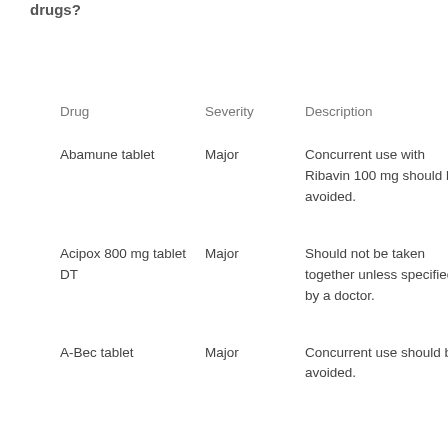drugs?
| Drug | Severity | Description |
| --- | --- | --- |
| Abamune tablet | Major | Concurrent use with Ribavin 100 mg should be avoided. |
| Acipox 800 mg tablet DT | Major | Should not be taken together unless specified by a doctor. |
| A-Bec tablet | Major | Concurrent use should be avoided. |